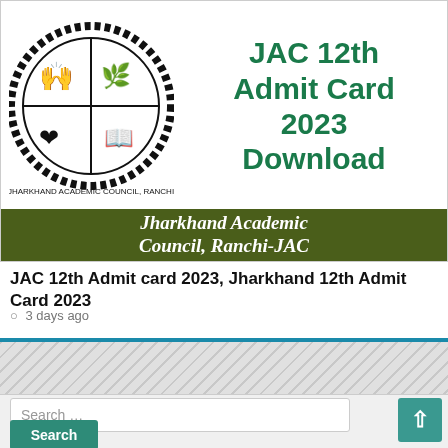[Figure (illustration): JAC 12th Admit Card 2023 Download banner image showing Jharkhand Academic Council Ranchi logo/crest on the left and bold green text 'JAC 12th Admit Card 2023 Download' on the right, with a dark green banner at the bottom reading 'Jharkhand Academic Council, Ranchi-JAC']
JAC 12th Admit card 2023, Jharkhand 12th Admit Card 2023
3 days ago
Search …
Search